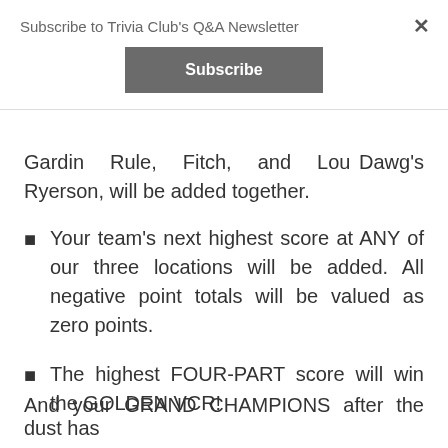Subscribe to Trivia Club's Q&A Newsletter
Gardin Rule, Fitch, and Lou Dawg's Ryerson, will be added together.
Your team's next highest score at ANY of our three locations will be added. All negative point totals will be valued as zero points.
The highest FOUR-PART score will win the GOLDEN VCR!
And your GRAND CHAMPIONS after the dust has